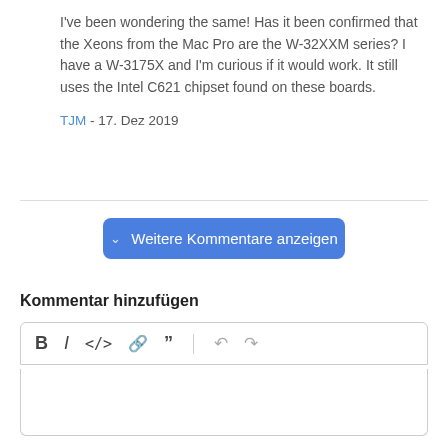I've been wondering the same! Has it been confirmed that the Xeons from the Mac Pro are the W-32XXM series? I have a W-3175X and I'm curious if it would work. It still uses the Intel C621 chipset found on these boards.
TJM - 17. Dez 2019
[Figure (other): Blue button labeled 'Weitere Kommentare anzeigen' with a chevron icon]
Kommentar hinzufügen
[Figure (other): Text editor toolbar with icons: Bold (B), Italic (I), Code (</>), Link, Quote, Undo, Redo]
[Figure (other): Empty text input area with rounded border]